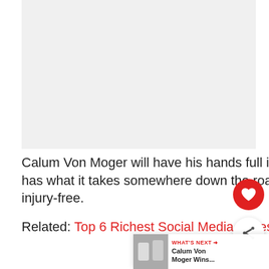[Figure (photo): Photo area (appears light/blank in this view) — likely a photo of Calum Von Moger]
Calum Von Moger will have his hands full if he's eyeing the Olympia trophy but he certainly has what it takes somewhere down the road if he's focused and keeps himself healthy and injury-free.
Related: Top 6 Richest Social Media Fitness Superstars